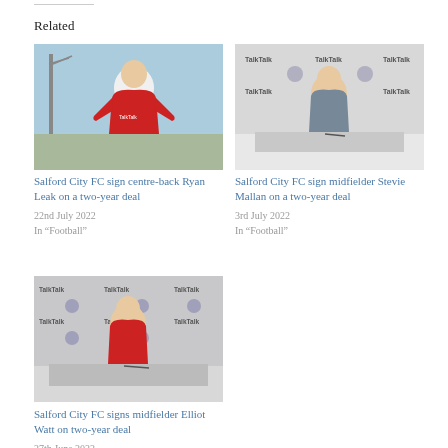Related
[Figure (photo): Footballer in red Salford City TalkTalk shirt standing outdoors]
Salford City FC sign centre-back Ryan Leak on a two-year deal
22nd July 2022
In “Football”
[Figure (photo): Man in grey shirt signing contract at TalkTalk/Salford City FC branded table]
Salford City FC sign midfielder Stevie Mallan on a two-year deal
3rd July 2022
In “Football”
[Figure (photo): Young man in Salford City red kit signing contract at TalkTalk branded table]
Salford City FC signs midfielder Elliot Watt on two-year deal
27th June 2022
In “News”